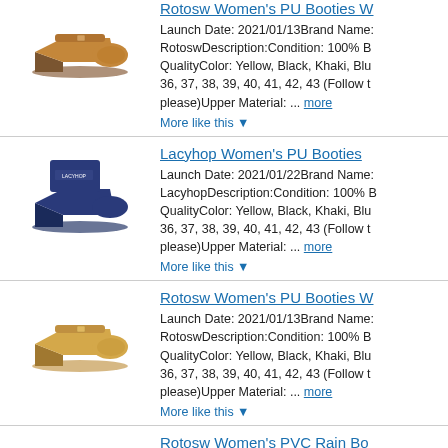[Figure (photo): Brown wedge ankle boot]
Rotosw Women's PU Booties W...
Launch Date: 2021/01/13Brand Name: RotoswDescription:Condition: 100% B QualityColor: Yellow, Black, Khaki, Blu 36, 37, 38, 39, 40, 41, 42, 43 (Follow t please)Upper Material: ... more
More like this ▼
[Figure (photo): Navy blue wedge ankle boot]
Lacyhop Women's PU Booties ...
Launch Date: 2021/01/22Brand Name: LacyhopDescription:Condition: 100% B QualityColor: Yellow, Black, Khaki, Blu 36, 37, 38, 39, 40, 41, 42, 43 (Follow t please)Upper Material: ... more
More like this ▼
[Figure (photo): Tan/camel wedge ankle boot]
Rotosw Women's PU Booties W...
Launch Date: 2021/01/13Brand Name: RotoswDescription:Condition: 100% B QualityColor: Yellow, Black, Khaki, Blu 36, 37, 38, 39, 40, 41, 42, 43 (Follow t please)Upper Material: ... more
More like this ▼
[Figure (photo): Pink short rain boot]
Rotosw Women's PVC Rain Bo...
Launch Date: 2021/01/13Brand Name: RotoswDescription:Condition: 100% B QualityColor: White, Black, Coffee, Pi 35, 36, 37, 38, 39, 40 (Follow the size